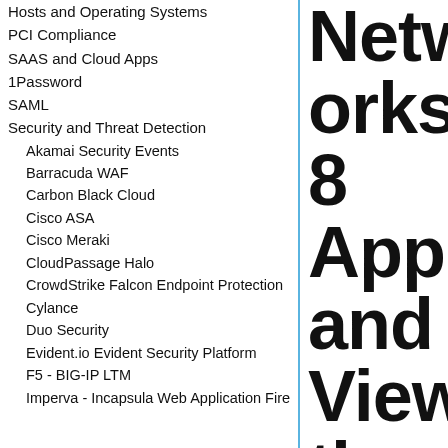Hosts and Operating Systems
PCI Compliance
SAAS and Cloud Apps
1Password
SAML
Security and Threat Detection
Akamai Security Events
Barracuda WAF
Carbon Black Cloud
Cisco ASA
Cisco Meraki
CloudPassage Halo
CrowdStrike Falcon Endpoint Protection
Cylance
Duo Security
Evident.io Evident Security Platform
F5 - BIG-IP LTM
Imperva - Incapsula Web Application Fire
Networks 8 App and View the Dashboards
Last updated: